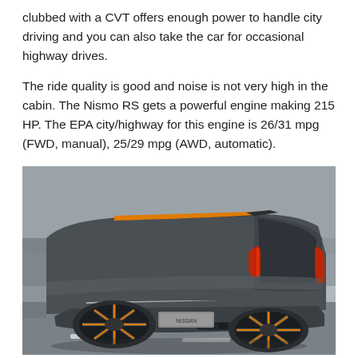clubbed with a CVT offers enough power to handle city driving and you can also take the car for occasional highway drives.
The ride quality is good and noise is not very high in the cabin. The Nismo RS gets a powerful engine making 215 HP. The EPA city/highway for this engine is 26/31 mpg (FWD, manual), 25/29 mpg (AWD, automatic).
[Figure (photo): Rear three-quarter view of a Nissan Kicks concept SUV in dark grey with orange roof rails, driving on a road with motion-blurred background. The car features red-accented tail lights and orange-accented alloy wheels.]